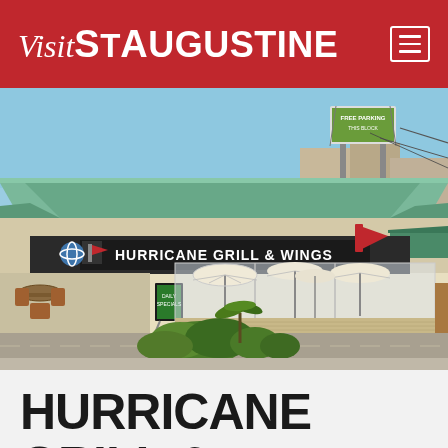Visit St Augustine
[Figure (photo): Exterior photo of Hurricane Grill & Wings restaurant building with green metal roof, outdoor patio with white umbrellas enclosed in glass/screen, and shrubs in foreground. A billboard is visible in the background. The restaurant sign reads HURRICANE GRILL & WINGS.]
HURRICANE GRILL & WINGS